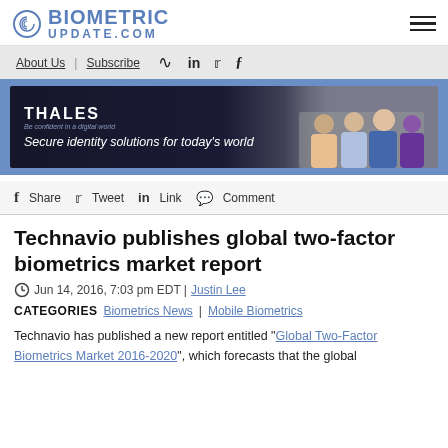BIOMETRIC UPDATE.COM
About Us | Subscribe
[Figure (infographic): Thales advertisement banner: dark background with text 'THALES - Be confident in a digital world', tagline 'Secure identity solutions for today's world', photo of diverse group of people on right side]
f Share  Tweet  in Link  Comment
Technavio publishes global two-factor biometrics market report
Jun 14, 2016, 7:03 pm EDT | Justin Lee
CATEGORIES  Biometrics News | Mobile Biometrics
Technavio has published a new report entitled “Global Two-Factor Biometrics Market 2016-2020”, which forecasts that the global